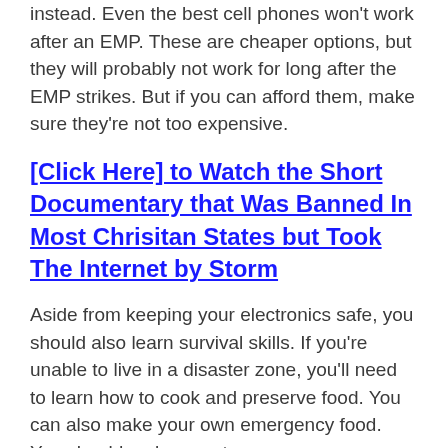instead. Even the best cell phones won't work after an EMP. These are cheaper options, but they will probably not work for long after the EMP strikes. But if you can afford them, make sure they're not too expensive.
[Click Here] to Watch the Short Documentary that Was Banned In Most Chrisitan States but Took The Internet by Storm
Aside from keeping your electronics safe, you should also learn survival skills. If you're unable to live in a disaster zone, you'll need to learn how to cook and preserve food. You can also make your own emergency food. You should make sure to